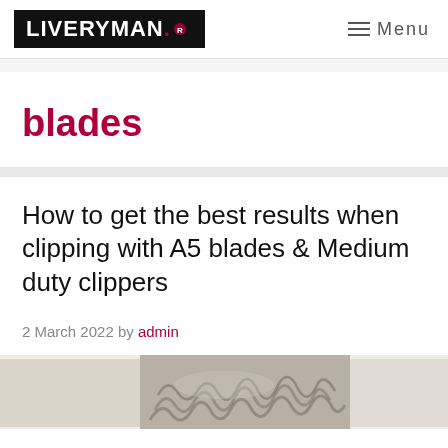LIVERYMAN Menu
blades
How to get the best results when clipping with A5 blades & Medium duty clippers
2 March 2022 by admin
[Figure (photo): Close-up photo of curly/wavy hair being clipped, with light fur texture visible]